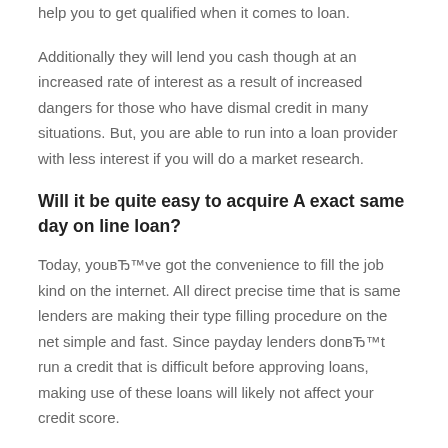help you to get qualified when it comes to loan.
Additionally they will lend you cash though at an increased rate of interest as a result of increased dangers for those who have dismal credit in many situations. But, you are able to run into a loan provider with less interest if you will do a market research.
Will it be quite easy to acquire A exact same day on line loan?
Today, youвЂ™ve got the convenience to fill the job kind on the internet. All direct precise time that is same lenders are making their type filling procedure on the net simple and fast. Since payday lenders donвЂ™t run a credit that is difficult before approving loans, making use of these loans will likely not affect your credit score.
You have to be careful that you could manage to just take an